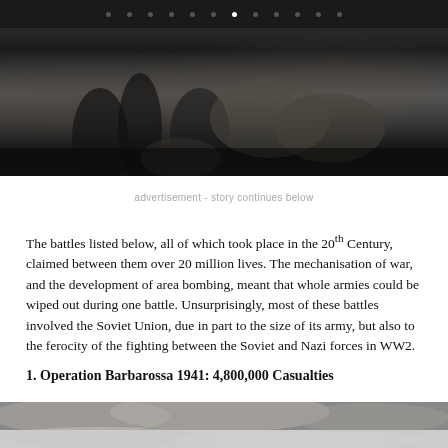• • • • • • • • • • • •
[Figure (photo): Black and white wartime photograph showing soldiers running through rough terrain with rocks and dirt]
advertisement - story continues below
The battles listed below, all of which took place in the 20th Century, claimed between them over 20 million lives. The mechanisation of war, and the development of area bombing, meant that whole armies could be wiped out during one battle. Unsurprisingly, most of these battles involved the Soviet Union, due in part to the size of its army, but also to the ferocity of the fighting between the Soviet and Nazi forces in WW2.
1. Operation Barbarossa 1941: 4,800,000 Casualties
[Figure (photo): Black and white wartime photograph showing clouds of smoke or explosion, grayscale tones]